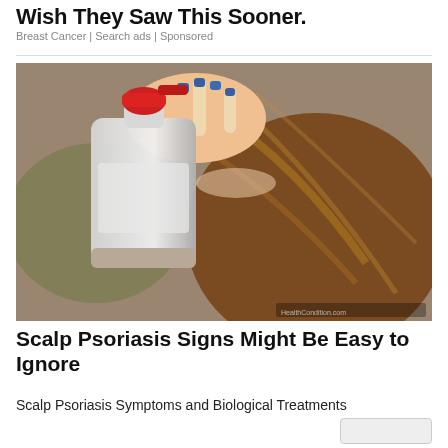Wish They Saw This Sooner.
Breast Cancer | Search ads | Sponsored
[Figure (photo): Person applying spray bottle to scalp/hair roots, close-up view, brown hair, hand with blue nail polish holding white spray bottle with red cap]
Scalp Psoriasis Signs Might Be Easy to Ignore
Scalp Psoriasis Symptoms and Biological Treatments